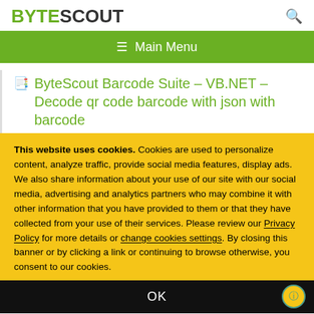BYTESCOUT
≡ Main Menu
ByteScout Barcode Suite – VB.NET – Decode qr code barcode with json with barcode
This website uses cookies. Cookies are used to personalize content, analyze traffic, provide social media features, display ads. We also share information about your use of our site with our social media, advertising and analytics partners who may combine it with other information that you have provided to them or that they have collected from your use of their services. Please review our Privacy Policy for more details or change cookies settings. By closing this banner or by clicking a link or continuing to browse otherwise, you consent to our cookies.
OK